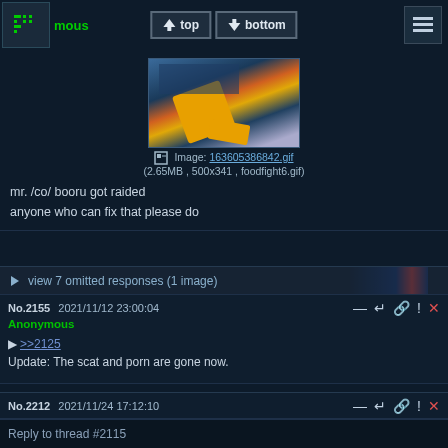mous
[Figure (screenshot): Navigation bar with top/bottom buttons and hamburger menu]
[Figure (photo): Animated GIF placeholder image of person with yellow pants falling]
Image: 163605386842.gif
(2.65MB , 500x341 , foodfight6.gif)
mr. /co/ booru got raided
anyone who can fix that please do
view 7 omitted responses (1 image)
No.2155  2021/11/12 23:00:04
Anonymous
▶ >>2125
Update: The scat and porn are gone now.
No.2212  2021/11/24 17:12:10
Anonymous
[Figure (illustration): Sketch drawing in white/light background]
Reply to thread #2115